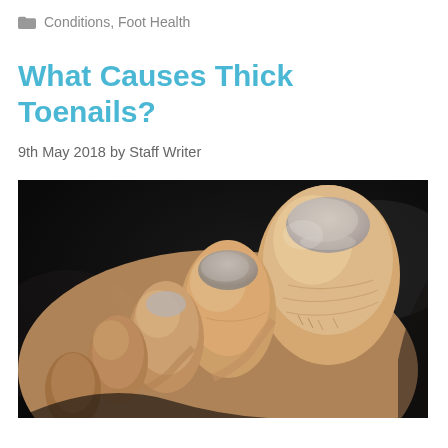Conditions, Foot Health
What Causes Thick Toenails?
9th May 2018 by Staff Writer
[Figure (photo): Close-up photograph of human toes showing toenails, with dark background, lit from above highlighting the skin texture and nail surfaces]